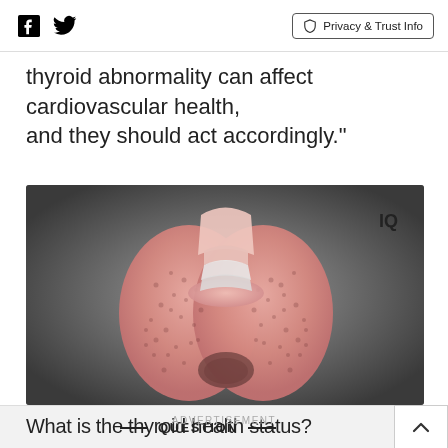Social icons (Facebook, Twitter) | Privacy & Trust Info
thyroid abnormality can affect cardiovascular health, and they should act accordingly."
[Figure (illustration): Medical illustration of a thyroid gland, showing the two-lobed butterfly-shaped gland in pink/salmon color against a dark grey gradient background. The label 'IQ' appears in the upper right corner of the image.]
QUESTION
What is the thyroid health status?